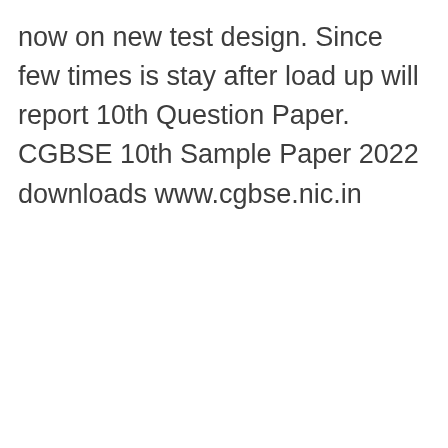now on new test design. Since few times is stay after load up will report 10th Question Paper. CGBSE 10th Sample Paper 2022 downloads www.cgbse.nic.in